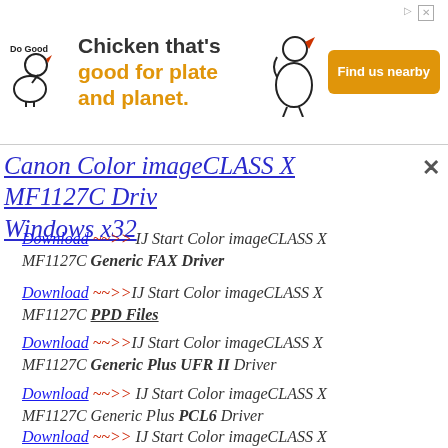[Figure (infographic): Do Good advertisement banner: 'Chicken that's good for plate and planet.' with Find us nearby button]
Canon Color imageCLASS X MF1127C Driver Windows x32
Download ~~>> IJ Start Color imageCLASS X MF1127C Generic FAX Driver
Download ~~>>IJ Start Color imageCLASS X MF1127C PPD Files
Download ~~>>IJ Start Color imageCLASS X MF1127C Generic Plus UFR II Driver
Download ~~>> IJ Start Color imageCLASS X MF1127C Generic Plus PCL6 Driver
Download ~~>> IJ Start Color imageCLASS X MF1127C Generic Plus PS3 Driver